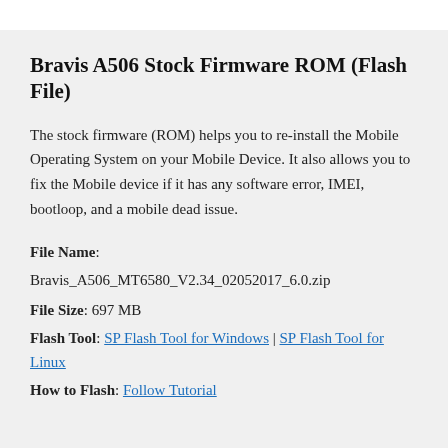Bravis A506 Stock Firmware ROM (Flash File)
The stock firmware (ROM) helps you to re-install the Mobile Operating System on your Mobile Device. It also allows you to fix the Mobile device if it has any software error, IMEI, bootloop, and a mobile dead issue.
File Name: Bravis_A506_MT6580_V2.34_02052017_6.0.zip
File Size: 697 MB
Flash Tool: SP Flash Tool for Windows | SP Flash Tool for Linux
How to Flash: Follow Tutorial